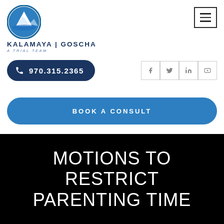[Figure (logo): Kalamaya Goscha law firm logo: circular blue mountain logo with firm name and tagline]
[Figure (other): Hamburger menu button (three horizontal lines) in top right corner]
970.315.2365
[Figure (other): Social media icons row: Facebook, Twitter, LinkedIn, YouTube]
BOOK A CONSULT
MOTIONS TO RESTRICT PARENTING TIME